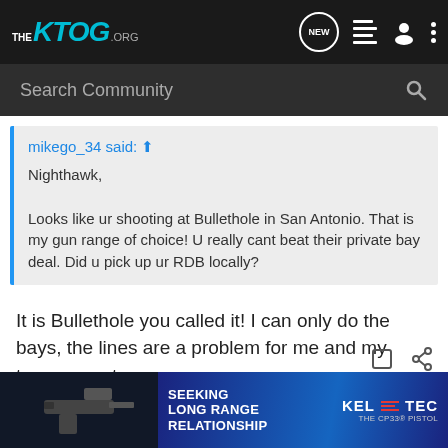THE KTOG.ORG
Search Community
mikego_34 said: ↑
Nighthawk,

Looks like ur shooting at Bullethole in San Antonio. That is my gun range of choice! U really cant beat their private bay deal. Did u pick up ur RDB locally?
It is Bullethole you called it! I can only do the bays, the lines are a problem for me and my temperment.
I got it from Nagel's
[Figure (screenshot): KEL-TEC advertisement banner: 'SEEKING LONG RANGE RELATIONSHIP — THE CP33 PISTOL' with image of a handgun on dark blue background]